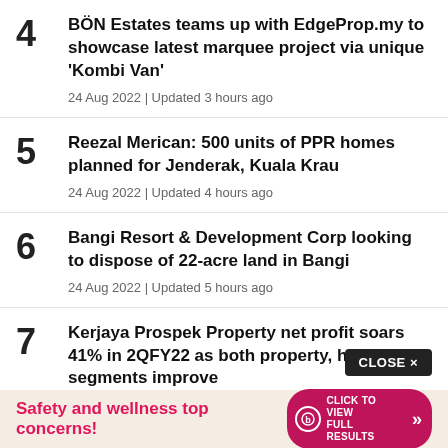4 BÖN Estates teams up with EdgeProp.my to showcase latest marquee project via unique 'Kombi Van'
24 Aug 2022 | Updated 3 hours ago
5 Reezal Merican: 500 units of PPR homes planned for Jenderak, Kuala Krau
24 Aug 2022 | Updated 4 hours ago
6 Bangi Resort & Development Corp looking to dispose of 22-acre land in Bangi
24 Aug 2022 | Updated 5 hours ago
7 Kerjaya Prospek Property net profit soars 41% in 2QFY22 as both property, hospitality segments improve
CLOSE ×
Safety and wellness top concerns! CLICK TO VIEW FULL RESULTS »